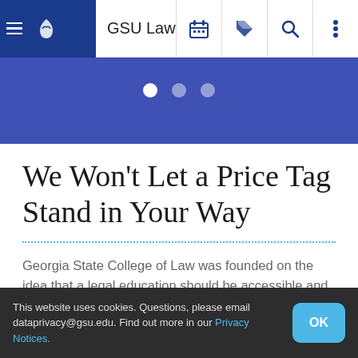GSU Law
[Figure (screenshot): Slider carousel indicator dots on a blue background — one white active dot and two faded dots]
We Won't Let a Price Tag Stand in Your Way
Georgia State College of Law was founded on the idea that a legal education should be accessible and affordable. We pride ourselves on offering that value for both full-time and part-time students. Check out our financial aid and scholarship options below and we can support your journey.
This website uses cookies. Questions, please email dataprivacy@gsu.edu. Find out more in our Privacy Notices.